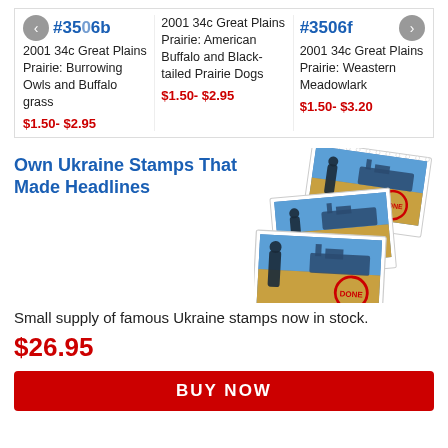#3506b — 2001 34c Great Plains Prairie: Burrowing Owls and Buffalo grass — $1.50- $2.95
2001 34c Great Plains Prairie: American Buffalo and Black-tailed Prairie Dogs — $1.50- $2.95
#3506f — 2001 34c Great Plains Prairie: Weastern Meadowlark — $1.50- $3.20
Own Ukraine Stamps That Made Headlines
[Figure (photo): Three overlapping Ukraine stamps showing a soldier and warship with DONE stamp overlay]
Small supply of famous Ukraine stamps now in stock.
$26.95
BUY NOW